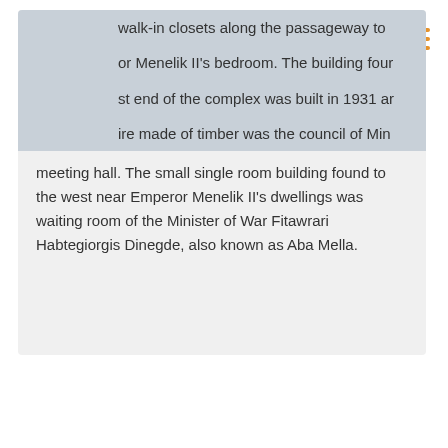[Figure (logo): Africa Unity Park logo — stylized golden Africa continent outline with text 'AFRICA TEN UNITY PARK' beneath]
walk-in closets along the passageway to or Menelik II's bedroom. The building four st end of the complex was built in 1931 ar ire made of timber was the council of Min meeting hall. The small single room building found to the west near Emperor Menelik II's dwellings was waiting room of the Minister of War Fitawrari Habtegiorgis Dinegde, also known as Aba Mella.